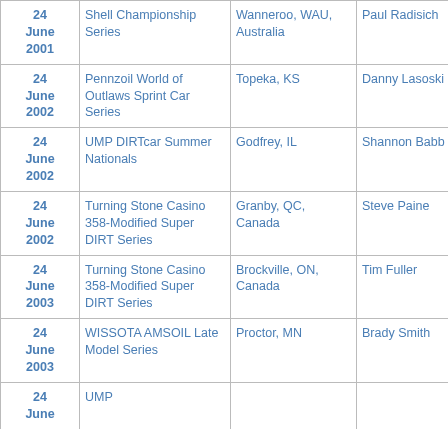| Date | Series | Location | Winner | Laps |
| --- | --- | --- | --- | --- |
| 24 June 2001 | Shell Championship Series | Wanneroo, WAU, Australia | Paul Radisich | 20 |
| 24 June 2002 | Pennzoil World of Outlaws Sprint Car Series | Topeka, KS | Danny Lasoski | 35 |
| 24 June 2002 | UMP DIRTcar Summer Nationals | Godfrey, IL | Shannon Babb |  |
| 24 June 2002 | Turning Stone Casino 358-Modified Super DIRT Series | Granby, QC, Canada | Steve Paine | 100 |
| 24 June 2003 | Turning Stone Casino 358-Modified Super DIRT Series | Brockville, ON, Canada | Tim Fuller | 100 |
| 24 June 2003 | WISSOTA AMSOIL Late Model Series | Proctor, MN | Brady Smith |  |
| 24 June ... | UMP | ... | ... |  |